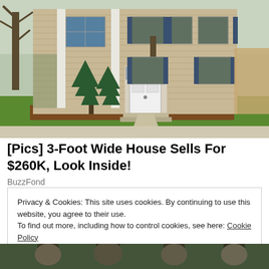[Figure (photo): Exterior photo of a two-story tan/beige colonial-style house with white front door, blue shutters, evergreen shrubs, green lawn, trees in background]
[Pics] 3-Foot Wide House Sells For $260K, Look Inside!
BuzzFond
Privacy & Cookies: This site uses cookies. By continuing to use this website, you agree to their use.
To find out more, including how to control cookies, see here: Cookie Policy
Close and accept
[Figure (photo): Bottom portion of a photo showing people's faces, partially cropped]